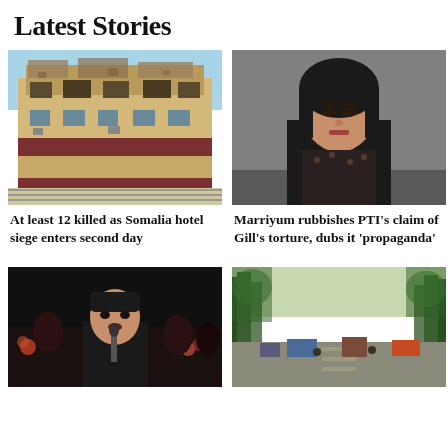Latest Stories
[Figure (photo): Damaged multi-storey building with destroyed upper floors, barbed wire fence in foreground — Somalia hotel siege aftermath]
[Figure (photo): Woman in black clothing and headscarf seated at a table with microphone — Marriyum Aurangzeb press conference]
At least 12 killed as Somalia hotel siege enters second day
Marriyum rubbishes PTI's claim of Gill's torture, dubs it 'propaganda'
[Figure (photo): Man speaking at a nighttime rally with crowd behind him — Imran Khan at PTI gathering]
[Figure (photo): Tree-lined road with vehicles and people — street scene]